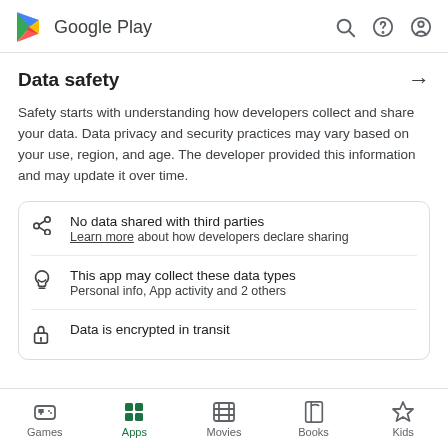Google Play
Data safety
Safety starts with understanding how developers collect and share your data. Data privacy and security practices may vary based on your use, region, and age. The developer provided this information and may update it over time.
No data shared with third parties
Learn more about how developers declare sharing
This app may collect these data types
Personal info, App activity and 2 others
Data is encrypted in transit
Games  Apps  Movies  Books  Kids